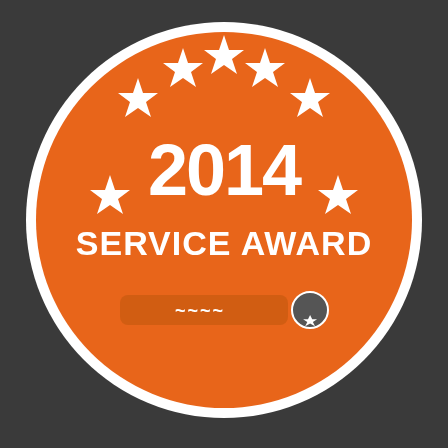[Figure (logo): 2014 Service Award badge — orange circle with white border, five white stars arranged in an arc at the top, large text '2014' in the center, and 'SERVICE AWARD' below it, with a partial logo at the bottom of the circle, on a dark gray background]